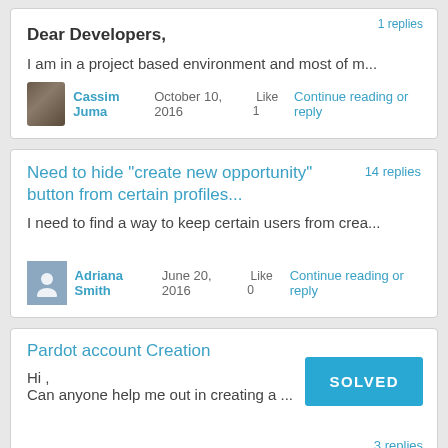1 replies
Dear Developers,
I am in a project based environment and most of m...
Cassim Juma  October 10, 2016   Like  1  Continue reading or reply
Need to hide "create new opportunity" button from certain profiles...
14 replies
I need to find a way to keep certain users from crea...
Adriana Smith  June 20, 2016   Like  0  Continue reading or reply
Pardot account Creation
SOLVED
Hi ,
Can anyone help me out in creating a ...
3 replies